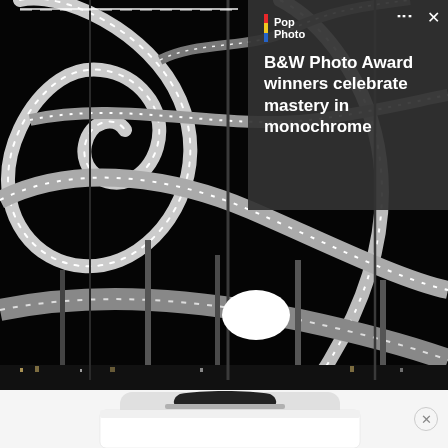[Figure (photo): Black and white night photograph of looping roller coaster or elevated walkway structures with lights along their edges, showing intricate curved metallic structures against a dark sky, possibly the Tiger & Turtle sculpture in Duisburg, Germany]
[Figure (logo): Pop Photo logo with colored vertical bar (red, yellow, blue) and text 'Pop Photo']
B&W Photo Award winners celebrate mastery in monochrome
[Figure (photo): Bottom portion showing a white object (possibly a luggage or appliance) with a black handle/lid against a white background, partial advertisement]